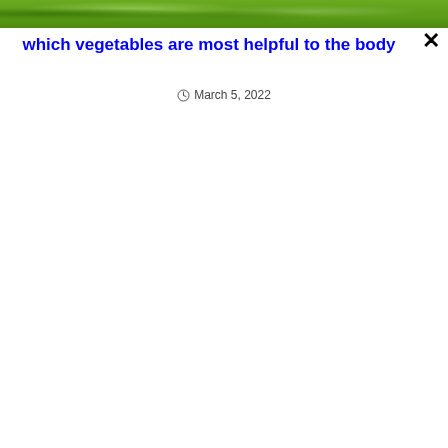[Figure (photo): Green leafy vegetables/plants photo banner at the top of the page]
which vegetables are most helpful to the body
March 5, 2022